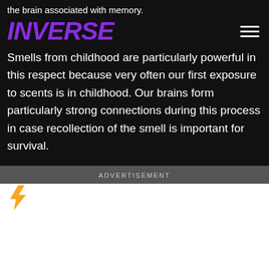the brain associated with memory.
INVERSE
Smells from childhood are particularly powerful in this respect because very often our first exposure to scents is in childhood. Our brains form particularly strong connections during this process in case recollection of the smell is important for survival.
ADVERTISEMENT
[Figure (other): Lightning bolt icon for advertisement section]